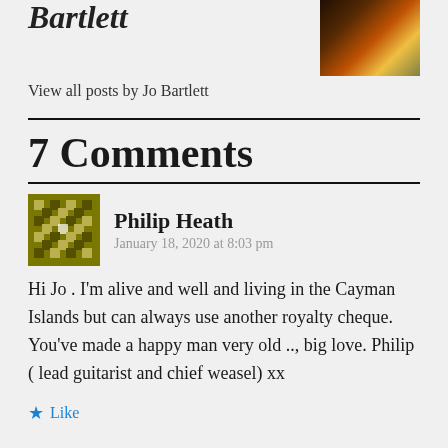Bartlett
View all posts by Jo Bartlett
7 Comments
Philip Heath
January 18, 2020 at 8:03 pm
Hi Jo . I'm alive and well and living in the Cayman Islands but can always use another royalty cheque. You've made a happy man very old .., big love. Philip ( lead guitarist and chief weasel) xx
Like